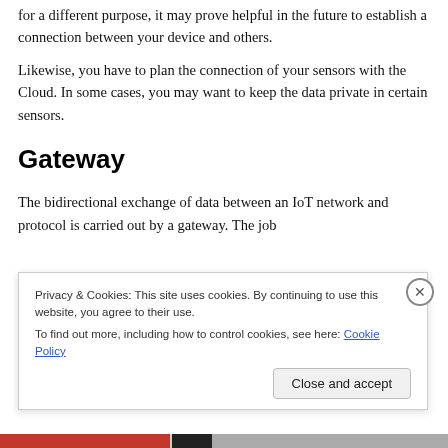for a different purpose, it may prove helpful in the future to establish a connection between your device and others.
Likewise, you have to plan the connection of your sensors with the Cloud. In some cases, you may want to keep the data private in certain sensors.
Gateway
The bidirectional exchange of data between an IoT network and protocol is carried out by a gateway. The job
Privacy & Cookies: This site uses cookies. By continuing to use this website, you agree to their use.
To find out more, including how to control cookies, see here: Cookie Policy